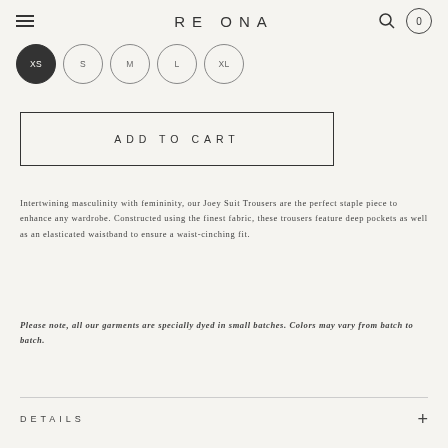RE ONA
[Figure (other): Size selector circles: XS (selected/filled), S, M, L, XL]
ADD TO CART
Intertwining masculinity with femininity, our Joey Suit Trousers are the perfect staple piece to enhance any wardrobe. Constructed using the finest fabric, these trousers feature deep pockets as well as an elasticated waistband to ensure a waist-cinching fit.
Please note, all our garments are specially dyed in small batches. Colors may vary from batch to batch.
DETAILS